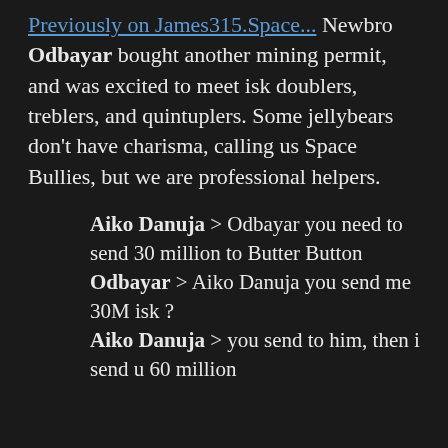Previously on James315.Space... Newbro Odbayar bought another mining permit, and was excited to meet isk doublers, treblers, and quintuplers. Some jellybears don't have charisma, calling us Space Bullies, but we are professional helpers.
Aiko Danuja > Odbayar you need to send 30 million to Butter Button
Odbayar > Aiko Danuja you send me 30M isk ?
Aiko Danuja > you send to him, then i send u 60 million